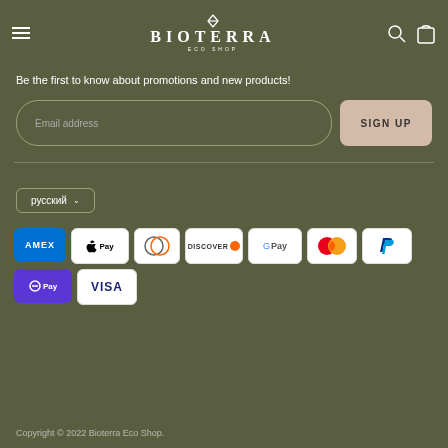[Figure (logo): Bioterra Eco Shop logo with bird icon and text]
Be the first to know about promotions and new products!
Email address
SIGN UP
русский
[Figure (infographic): Payment method icons: AMEX, Apple Pay, Diners Club, Discover, Google Pay, Mastercard, PayPal, OPay, VISA]
Copyright © 2022 Bioterra Eco Shop.